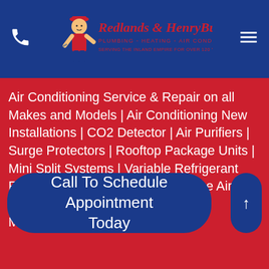Redlands & HenryBush Plumbing · Heating · Air Conditioning — Serving the Inland Empire for over 120 years
Air Conditioning Service & Repair on all Makes and Models | Air Conditioning New Installations | CO2 Detector | Air Purifiers | Surge Protectors | Rooftop Package Units | Mini Split Systems | Variable Refrigerant Flow (VRF) Systems | Mobile Home Air Conditioning Systems | Routine Maintenance
Call To Schedule Appointment Today